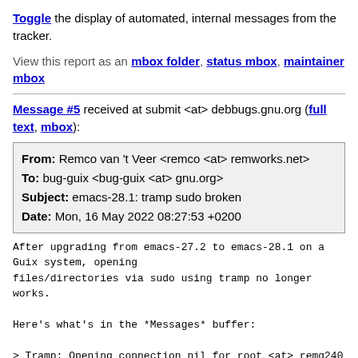Toggle the display of automated, internal messages from the tracker.
View this report as an mbox folder, status mbox, maintainer mbox
Message #5 received at submit <at> debbugs.gnu.org (full text, mbox):
| From: | Remco van 't Veer <remco <at> remworks.net> |
| To: | bug-guix <bug-guix <at> gnu.org> |
| Subject: | emacs-28.1: tramp sudo broken |
| Date: | Mon, 16 May 2022 08:27:53 +0200 |
After upgrading from emacs-27.2 to emacs-28.1 on a Guix system, opening
files/directories via sudo using tramp no longer works.

Here's what's in the *Messages* buffer:

> Tramp: Opening connection nil for root <at> remq240 using sudo...done
> File error: Couldn't find a proper `ls' command [6